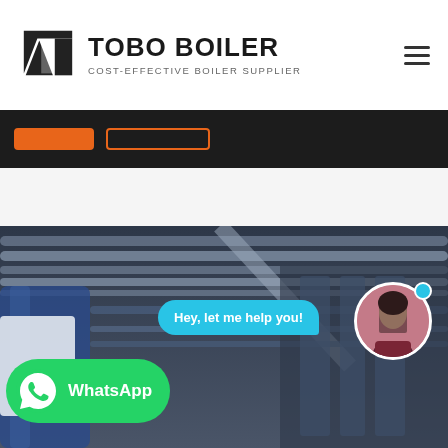[Figure (logo): TOBO BOILER logo with black geometric icon and text 'TOBO BOILER' and subtitle 'COST-EFFECTIVE BOILER SUPPLIER']
[Figure (screenshot): Dark navigation bar with two orange buttons partially visible]
[Figure (photo): Industrial boiler facility interior showing pipes, tubes and equipment in a blurred background image]
Hey, let me help you!
[Figure (logo): WhatsApp button with green background and WhatsApp logo and text 'WhatsApp']